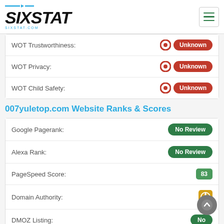SIXSTAT
| Metric | Value |
| --- | --- |
| WOT Trustworthiness: | Unknown |
| WOT Privacy: | Unknown |
| WOT Child Safety: | Unknown |
007yuletop.com Website Ranks & Scores
| Metric | Value |
| --- | --- |
| Google Pagerank: | No Review |
| Alexa Rank: | No Review |
| PageSpeed Score: | 83 |
| Domain Authority: | (icon) |
| DMOZ Listing: | No |
007yuletop.com Web Server Report
Our Web Server report for 007yuletop.com attempts to